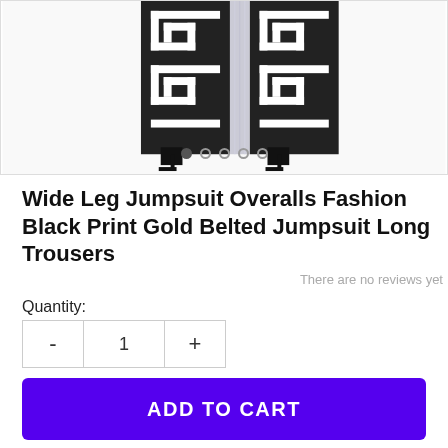[Figure (photo): Product photo of wide leg jumpsuit with black and white Greek key print pattern, showing legs wearing high heels]
Wide Leg Jumpsuit Overalls Fashion Black Print Gold Belted Jumpsuit Long Trousers
There are no reviews yet
Quantity:
- 1 + (quantity selector)
✓ Will be shipped in 3-5 days
ADD TO CART